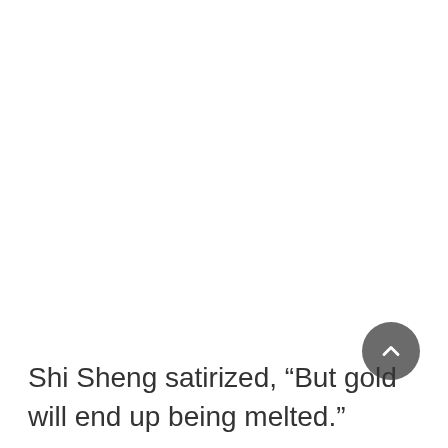Shi Sheng satirized, “But gold will end up being melted.”